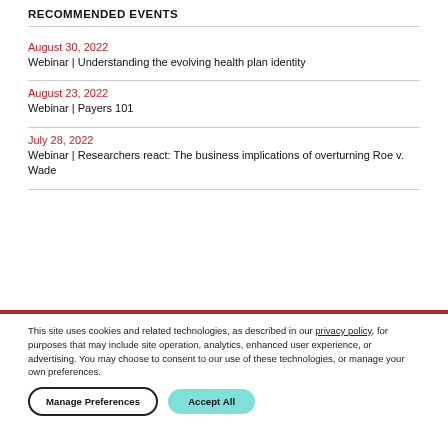RECOMMENDED EVENTS
August 30, 2022
Webinar | Understanding the evolving health plan identity
August 23, 2022
Webinar | Payers 101
July 28, 2022
Webinar | Researchers react: The business implications of overturning Roe v. Wade
This site uses cookies and related technologies, as described in our privacy policy, for purposes that may include site operation, analytics, enhanced user experience, or advertising. You may choose to consent to our use of these technologies, or manage your own preferences.